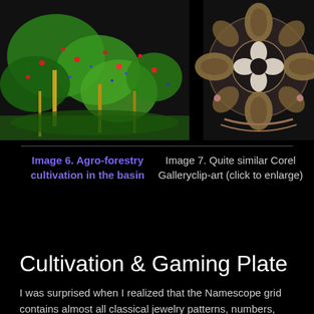[Figure (illustration): Agro-forestry cultivation image showing trees with colorful pixel-style vegetation in greens, reds, blues on black background, with labeled callouts: Agricultural crops, Hans knot shape, Quadrefoil shape. On the right, a decorative circular medallion with grain/leaf patterns in tan, cream, and pink on dark background.]
Image 6. Agro-forestry cultivation in the basin
Image 7. Quite similar Corel Galleryclip-art (click to enlarge)
Cultivation & Gaming Plate
I was surprised when I realized that the Namescope grid contains almost all classical jewelry patterns, numbers, and alphabets. The water infiltration pool seems to be like a “Mother of all symbols”. Symbol shapes consist of crossing driving paths of the sledge and